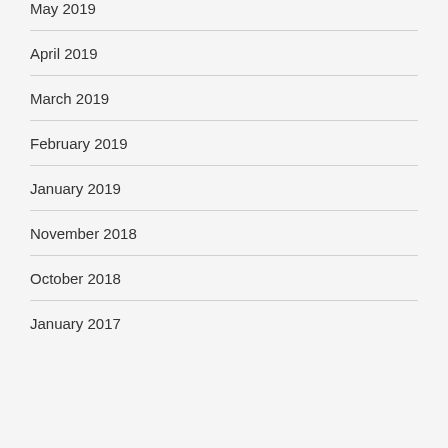May 2019
April 2019
March 2019
February 2019
January 2019
November 2018
October 2018
January 2017